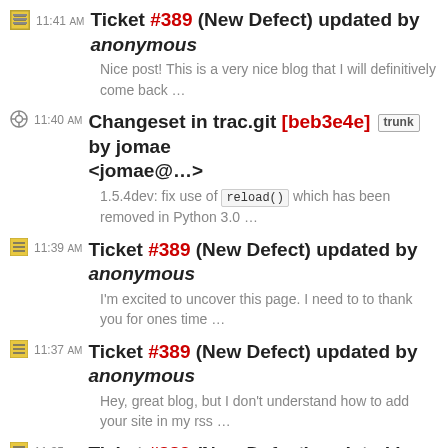11:41 AM Ticket #389 (New Defect) updated by anonymous
Nice post! This is a very nice blog that I will definitively come back …
11:40 AM Changeset in trac.git [beb3e4e] trunk by jomae <jomae@…>
1.5.4dev: fix use of reload() which has been removed in Python 3.0 …
11:39 AM Ticket #389 (New Defect) updated by anonymous
I'm excited to uncover this page. I need to to thank you for ones time …
11:37 AM Ticket #389 (New Defect) updated by anonymous
Hey, great blog, but I don't understand how to add your site in my rss …
11:35 AM Ticket #389 (New Defect) updated by anonymous
This is my first time i visit here and I found so many interesting…